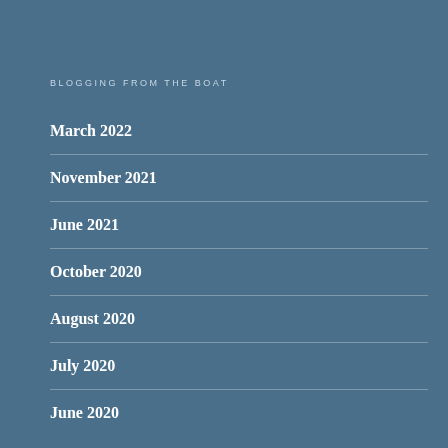BLOGGING FROM THE BOAT
March 2022
November 2021
June 2021
October 2020
August 2020
July 2020
June 2020